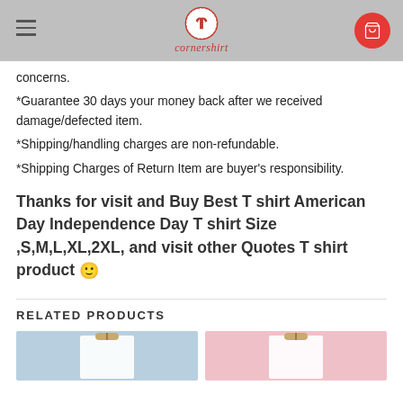cornershirt
concerns.
*Guarantee 30 days your money back after we received damage/defected item.
*Shipping/handling charges are non-refundable.
*Shipping Charges of Return Item are buyer’s responsibility.
Thanks for visit and Buy Best T shirt American Day Independence Day T shirt Size ,S,M,L,XL,2XL, and visit other Quotes T shirt product 🙂
RELATED PRODUCTS
[Figure (photo): Two white t-shirts on hangers, left on blue background, right on pink background]